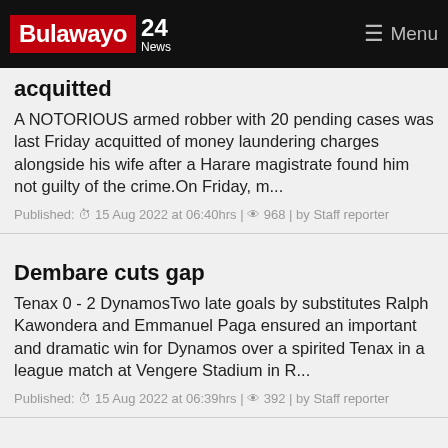Bulawayo 24 News | Menu
acquitted
A NOTORIOUS armed robber with 20 pending cases was last Friday acquitted of money laundering charges alongside his wife after a Harare magistrate found him not guilty of the crime.On Friday, m...
Published: ⊙ 15 Aug 2022 at 06:40hrs | 👁 968 | by Staff reporter
Dembare cuts gap
Tenax 0 - 2 DynamosTwo late goals by substitutes Ralph Kawondera and Emmanuel Paga ensured an important and dramatic win for Dynamos over a spirited Tenax in a league match at Vengere Stadium in R...
Published: ⊙ 15 Aug 2022 at 06:39hrs | 👁 392 | by Staff reporter